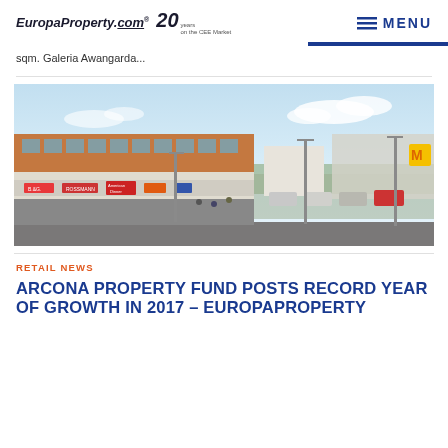EuropaProperty.com® 20 years on the CEE Market  MENU
sqm. Galeria Awangarda...
[Figure (photo): Aerial/elevated view of a retail park/shopping centre building with orange-brick upper facade, large storefront with retailer signage, parking lot with cars, lamp posts, green landscape, and blue sky.]
RETAIL NEWS
ARCONA PROPERTY FUND POSTS RECORD YEAR OF GROWTH IN 2017 – EUROPAPROPERTY